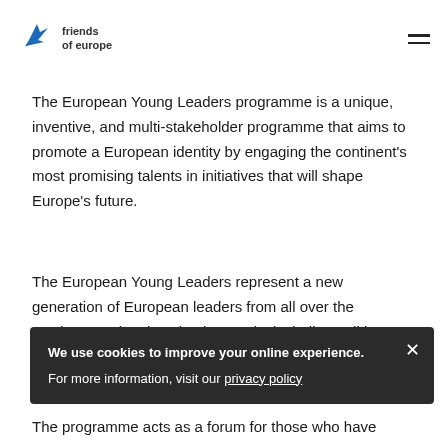friends of europe
The European Young Leaders programme is a unique, inventive, and multi-stakeholder programme that aims to promote a European identity by engaging the continent's most promising talents in initiatives that will shape Europe's future.
The European Young Leaders represent a new generation of European leaders from all over the continent and various backgrounds, including politics, business, civil society, media, science, and culture.
We use cookies to improve your online experience.
For more information, visit our privacy policy
The programme acts as a forum for those who have